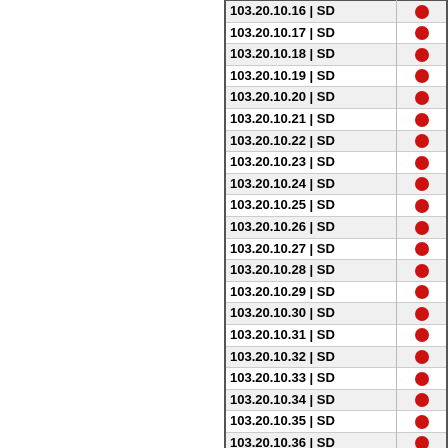| IP | Code | Flag |
| --- | --- |
| 103.20.10.16 | SD | ● |
| 103.20.10.17 | SD | ● |
| 103.20.10.18 | SD | ● |
| 103.20.10.19 | SD | ● |
| 103.20.10.20 | SD | ● |
| 103.20.10.21 | SD | ● |
| 103.20.10.22 | SD | ● |
| 103.20.10.23 | SD | ● |
| 103.20.10.24 | SD | ● |
| 103.20.10.25 | SD | ● |
| 103.20.10.26 | SD | ● |
| 103.20.10.27 | SD | ● |
| 103.20.10.28 | SD | ● |
| 103.20.10.29 | SD | ● |
| 103.20.10.30 | SD | ● |
| 103.20.10.31 | SD | ● |
| 103.20.10.32 | SD | ● |
| 103.20.10.33 | SD | ● |
| 103.20.10.34 | SD | ● |
| 103.20.10.35 | SD | ● |
| 103.20.10.36 | SD | ● |
| 103.20.10.37 | SD | ● |
| 103.20.10.38 | SD | ● |
| 103.20.10.39 | SD | ● |
| 103.20.10.40 | SD | ● |
| 103.20.10.41 | SD | ● |
| 103.20.10.42 | SD | ● |